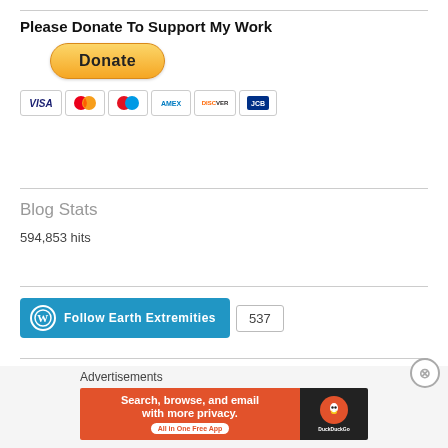Please Donate To Support My Work
[Figure (other): PayPal Donate button (yellow rounded rectangle) with payment card icons (Visa, Mastercard, Maestro, American Express, Discover, JCB) below]
Blog Stats
594,853 hits
[Figure (other): WordPress Follow Earth Extremities button (blue) with follower count badge showing 537]
Advertisements
[Figure (other): DuckDuckGo advertisement banner: 'Search, browse, and email with more privacy. All in One Free App' with DuckDuckGo logo on dark background]